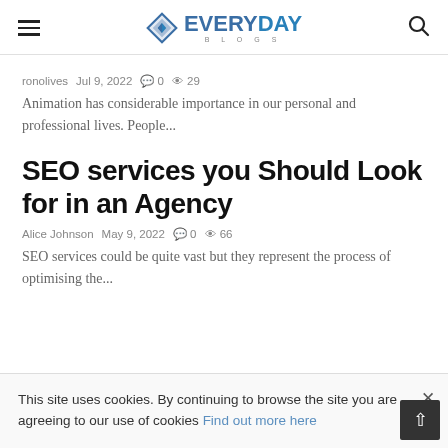EVERYDAY BLOGS
ronolives  Jul 9, 2022  0  29
Animation has considerable importance in our personal and professional lives. People...
SEO services you Should Look for in an Agency
Alice Johnson  May 9, 2022  0  66
SEO services could be quite vast but they represent the process of optimising the...
This site uses cookies. By continuing to browse the site you are agreeing to our use of cookies Find out more here